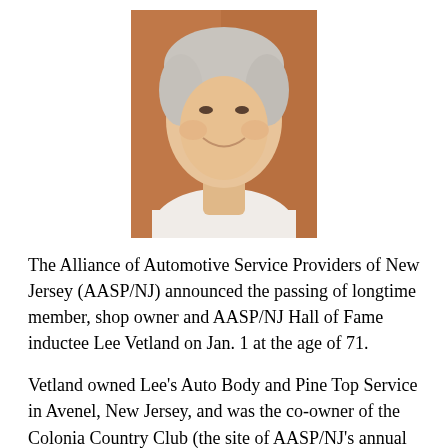[Figure (photo): Portrait photo of Lee Vetland, an older man with gray hair, smiling, wearing a white shirt, photographed outdoors against a warm-toned background.]
The Alliance of Automotive Service Providers of New Jersey (AASP/NJ) announced the passing of longtime member, shop owner and AASP/NJ Hall of Fame inductee Lee Vetland on Jan. 1 at the age of 71.
Vetland owned Lee’s Auto Body and Pine Top Service in Avenel, New Jersey, and was the co-owner of the Colonia Country Club (the site of AASP/NJ’s annual Golf Outing) in Colonia. In addition to his long history with AASP/NJ, he was a founder and board member of Auto Body Distributing Co. and served as president of the Garden State Automotive Federation, one of the auto trade…